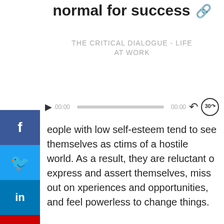normal for success 🔗
THE CRITICAL DIALOGUE - LIFE AT WORK
[Figure (other): Audio player with play button, time stamps 00:00, progress bar, and skip controls]
People with low self-esteem tend to see themselves as victims of a hostile world. As a result, they are reluctant to express and assert themselves, miss out on experiences and opportunities, and feel powerless to change things.
It takes them to a downward spiral of lowered self-esteem.
If you feel that you suffer from poor self-esteem, there are a number of simple things that you can do to boost